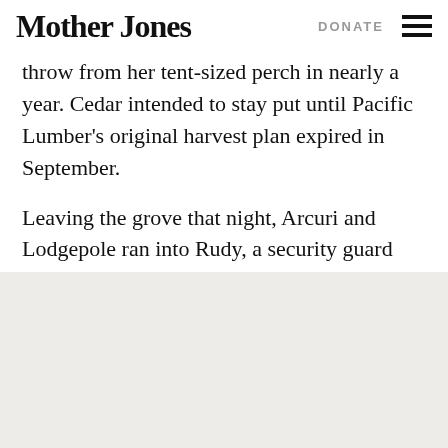Mother Jones | DONATE
throw from her tent-sized perch in nearly a year. Cedar intended to stay put until Pacific Lumber's original harvest plan expired in September.
Leaving the grove that night, Arcuri and Lodgepole ran into Rudy, a security guard Pacific Lumber had hired to track them. He grabbed Lodgepole's elbow and churned his hand in congratulation.